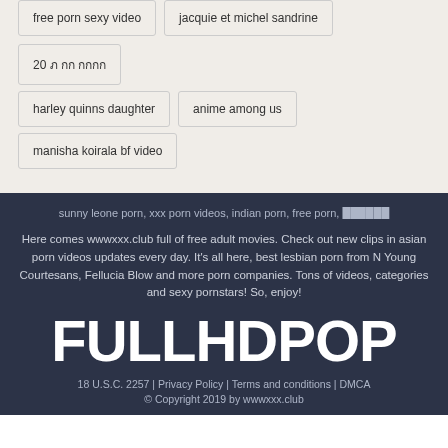free porn sexy video
jacquie et michel sandrine
20 ภ กก กกกก
harley quinns daughter
anime among us
manisha koirala bf video
sunny leone porn, xxx porn videos, indian porn, free porn, ██████
Here comes wwwxxx.club full of free adult movies. Check out new clips in asian porn videos updates every day. It's all here, best lesbian porn from N Young Courtesans, Fellucia Blow and more porn companies. Tons of videos, categories and sexy pornstars! So, enjoy!
FULLHDPOP
18 U.S.C. 2257 | Privacy Policy | Terms and conditions | DMCA
© Copyright 2019 by wwwxxx.club